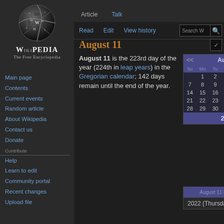[ about ]  [ preferences ]
[Figure (logo): Wikipedia globe logo]
Wikipedia
The Free Encyclopedia
Main page
Contents
Current events
Random article
About Wikipedia
Contact us
Donate
Contribute
Help
Learn to edit
Community portal
Recent changes
Upload file
August 11
August 11 is the 223rd day of the year (224th in leap years) in the Gregorian calendar; 142 days remain until the end of the year.
| << | August | >> |
| --- | --- | --- |
| Su | Mo | Tu | We | Th | Fr | Sa |
|  | 1 | 2 | 3 | 4 | 5 | 6 |
| 7 | 8 | 9 | 10 | 11 | 12 | 13 |
| 14 | 15 | 16 | 17 | 18 | 19 | 20 |
| 21 | 22 | 23 | 24 | 25 | 26 | 27 |
| 28 | 29 | 30 | 31 |  |  |  |
| 2022 |  |  |  |  |  |  |
| August 11 in recent years |
| --- |
| 2022 (Thursday) |